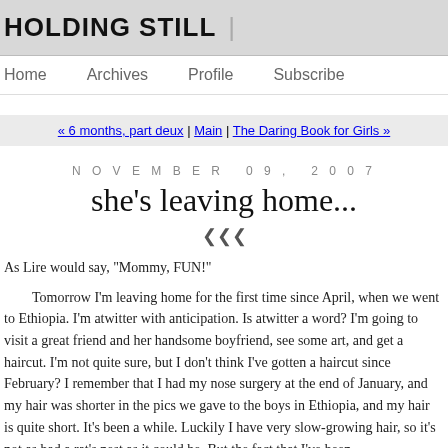HOLDING STILL |
Home   Archives   Profile   Subscribe
« 6 months, part deux | Main | The Daring Book for Girls »
NOVEMBER 09, 2007
she's leaving home...
As Lire would say, "Mommy, FUN!"
Tomorrow I'm leaving home for the first time since April, when we went to Ethiopia. I'm atwitter with anticipation. Is atwitter a word? I'm going to visit a great friend and her handsome boyfriend, see some art, and get a haircut. I'm not quite sure, but I don't think I've gotten a haircut since February? I remember that I had my nose surgery at the end of January, and my hair was shorter in the pics we gave to the boys in Ethiopia, and my hair is quite short. It's been a while. Luckily I have very slow-growing hair, so it's not as bad a rat's nest as it could be. But the fact that I've been